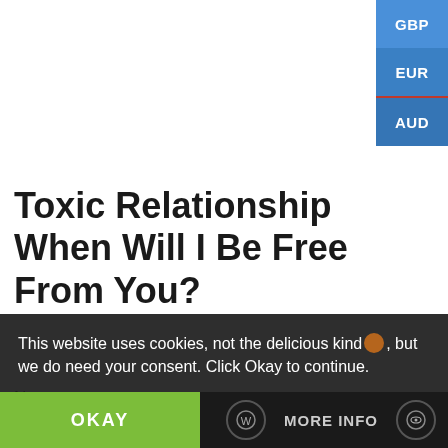[Figure (screenshot): Currency selector buttons (GBP, EUR, AUD) stacked vertically in blue on the top-right corner of the page]
Toxic Relationship When Will I Be Free From You?
Name
Your Name
Email
Your Email
This website uses cookies, not the delicious kind🍪, but we do need your consent. Click Okay to continue.
OKAY
MORE INFO